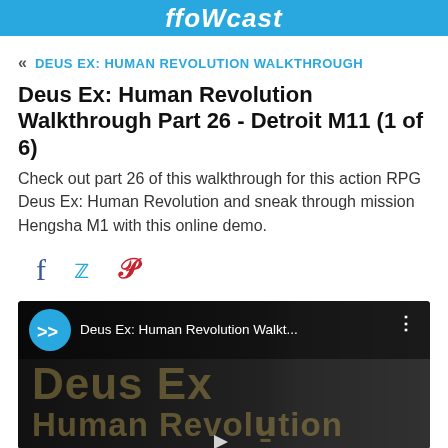ffoWcast
« DEUS EX: HUMAN REVOLUTION WALKTHROUGH
Deus Ex: Human Revolution Walkthrough Part 26 - Detroit M11 (1 of 6)
Check out part 26 of this walkthrough for this action RPG Deus Ex: Human Revolution and sneak through mission Hengsha M1 with this online demo.
[Figure (screenshot): Social share icons: Facebook (blue f), Twitter (blue bird), Pinterest (red P)]
[Figure (screenshot): Video thumbnail showing Deus Ex: Human Revolution with play button and title bar reading 'Deus Ex: Human Revolution Walkt...' with a blue circular double-arrow icon. Background shows stylized dark game art with text 'Deus Ex Human Revolution'.]